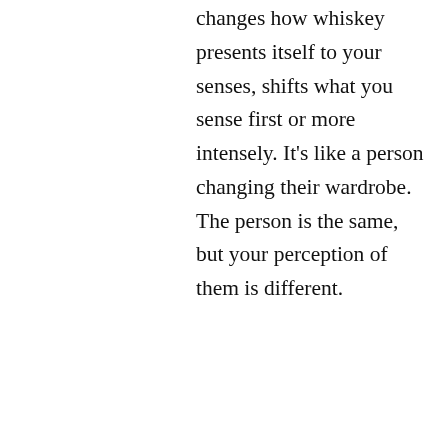changes how whiskey presents itself to your senses, shifts what you sense first or more intensely. It’s like a person changing their wardrobe. The person is the same, but your perception of them is different.
Terroir: Perhaps, because of that difference between wine and whiskey, there should be a